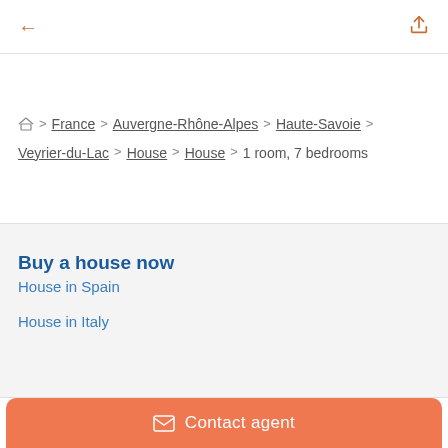← [back] [share]
🏠 > France > Auvergne-Rhône-Alpes > Haute-Savoie > Veyrier-du-Lac > House > House > 1 room, 7 bedrooms
Buy a house now
House in Spain
House in Italy
✉ Contact agent